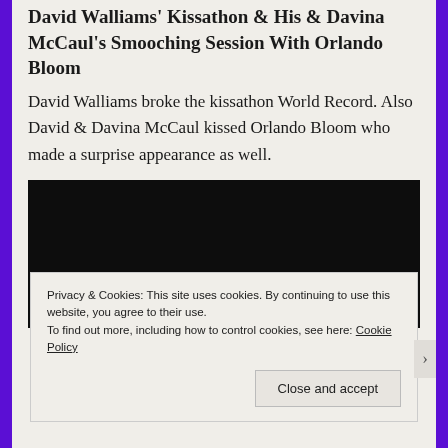David Walliams' Kissathon & His & Davina McCaul's Smooching Session With Orlando Bloom
David Walliams broke the kissathon World Record. Also David & Davina McCaul kissed Orlando Bloom who made a surprise appearance as well.
[Figure (screenshot): Black video player placeholder rectangle]
Privacy & Cookies: This site uses cookies. By continuing to use this website, you agree to their use.
To find out more, including how to control cookies, see here: Cookie Policy
Close and accept